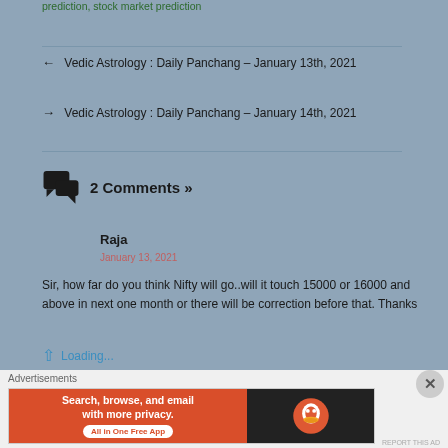prediction, stock market prediction
← Vedic Astrology : Daily Panchang – January 13th, 2021
→ Vedic Astrology : Daily Panchang – January 14th, 2021
2 Comments »
Raja
Sir, how far do you think Nifty will go..will it touch 15000 or 16000 and above in next one month or there will be correction before that. Thanks
Loading...
Advertisements